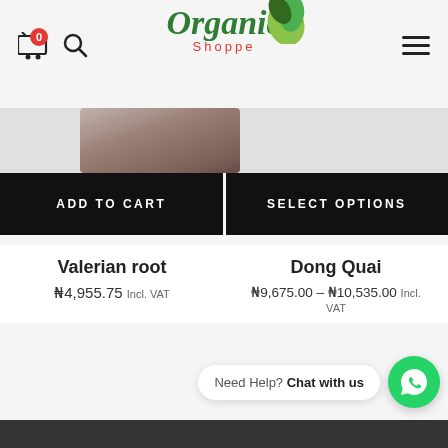[Figure (logo): Organic Shoppe logo with green leaf icon]
[Figure (photo): Partial product image visible at top of product card]
ADD TO CART
SELECT OPTIONS
Valerian root
₦4,955.75 Incl. VAT
Dong Quai
₦9,675.00 – ₦10,535.00 Incl. VAT
Need Help? Chat with us